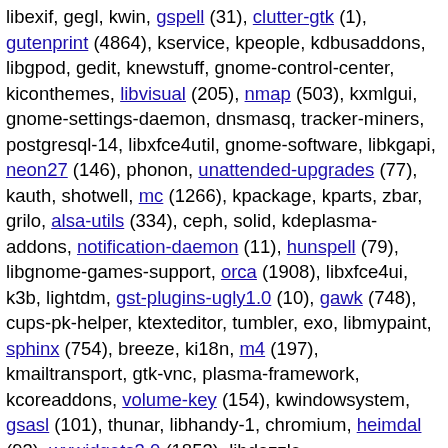libexif, gegl, kwin, gspell (31), clutter-gtk (1), gutenprint (4864), kservice, kpeople, kdbusaddons, libgpod, gedit, knewstuff, gnome-control-center, kiconthemes, libvisual (205), nmap (503), kxmlgui, gnome-settings-daemon, dnsmasq, tracker-miners, postgresql-14, libxfce4util, gnome-software, libkgapi, neon27 (146), phonon, unattended-upgrades (77), kauth, shotwell, mc (1266), kpackage, kparts, zbar, grilo, alsa-utils (334), ceph, solid, kdeplasma-addons, notification-daemon (11), hunspell (79), libgnome-games-support, orca (1908), libxfce4ui, k3b, lightdm, gst-plugins-ugly1.0 (10), gawk (748), cups-pk-helper, ktexteditor, tumbler, exo, libmypaint, sphinx (754), breeze, ki18n, m4 (197), kmailtransport, gtk-vnc, plasma-framework, kcoreaddons, volume-key (154), kwindowsystem, gsasl (101), thunar, libhandy-1, chromium, heimdal (93), wxwidgets3.0 (1853), libdazzle, kwidgetsaddons, kitemviews, libosinfo (171), kfilemetadata-kf5, yelp-xsl (64), network-manager-applet (859), kcodecs, kcompletion, kconfigwidgets, powerdevil, wine (4214), purpose, synaptic (360),